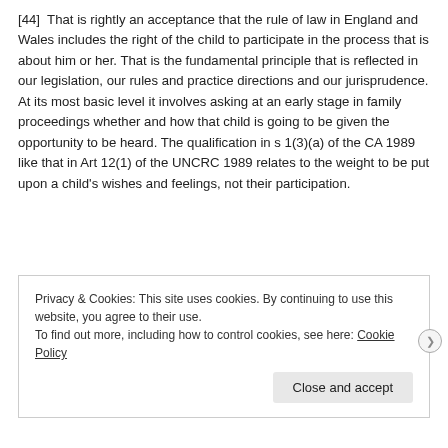[44]  That is rightly an acceptance that the rule of law in England and Wales includes the right of the child to participate in the process that is about him or her. That is the fundamental principle that is reflected in our legislation, our rules and practice directions and our jurisprudence. At its most basic level it involves asking at an early stage in family proceedings whether and how that child is going to be given the opportunity to be heard. The qualification in s 1(3)(a) of the CA 1989 like that in Art 12(1) of the UNCRC 1989 relates to the weight to be put upon a child's wishes and feelings, not their participation.
Privacy & Cookies: This site uses cookies. By continuing to use this website, you agree to their use.
To find out more, including how to control cookies, see here: Cookie Policy